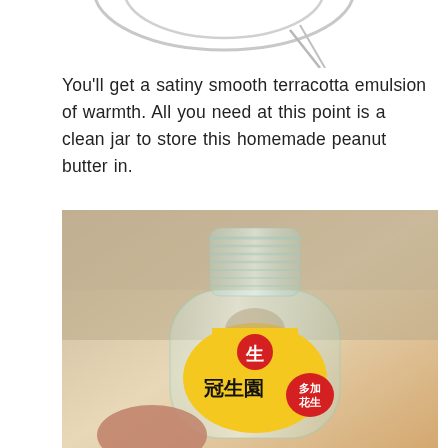[Figure (photo): Partial view of a wire whisk or ring-shaped kitchen tool, visible at the top of the page against a white background.]
You'll get a satiny smooth terracotta emulsion of warmth. All you need at this point is a clean jar to store this homemade peanut butter in.
[Figure (photo): A clear glass jar with a yellow label showing Chinese characters including 冠生園 (Guanshengyuan brand), held by a hand with red fingernails, photographed against a warm beige background.]